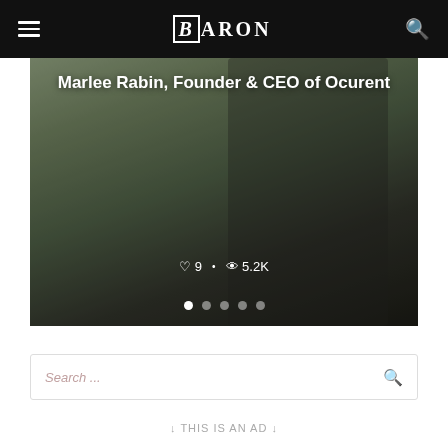BARON
[Figure (photo): Hero image of Marlee Rabin, Founder & CEO of Ocuprent, seated at a restaurant table in a black outfit. Image includes title overlay, like count (9) and view count (5.2K), and slider navigation dots.]
Marlee Rabin, Founder & CEO of Ocurent
♡9 • 👁5.2K
Search ...
↓ THIS IS AN AD ↓